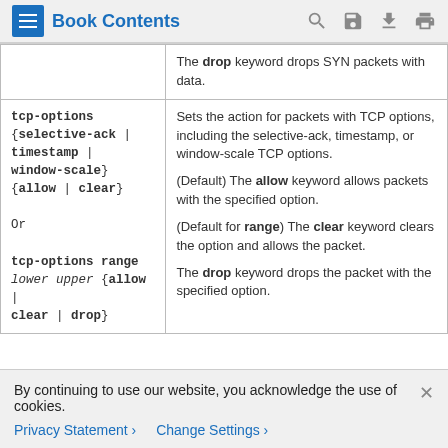Book Contents
| Syntax | Description |
| --- | --- |
|  | The drop keyword drops SYN packets with data. |
| tcp-options {selective-ack | timestamp | window-scale} {allow | clear}
Or
tcp-options range lower upper {allow | clear | drop} | Sets the action for packets with TCP options, including the selective-ack, timestamp, or window-scale TCP options.
(Default) The allow keyword allows packets with the specified option.
(Default for range) The clear keyword clears the option and allows the packet.
The drop keyword drops the packet with the specified option. |
By continuing to use our website, you acknowledge the use of cookies.
Privacy Statement > Change Settings >